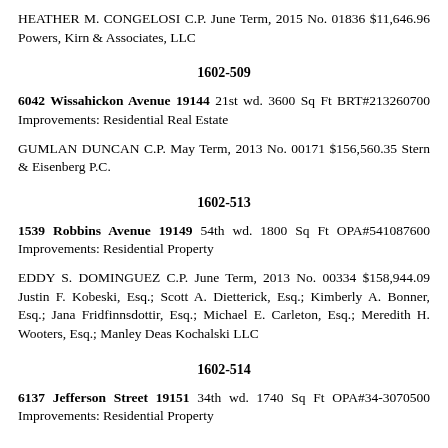HEATHER M. CONGELOSI C.P. June Term, 2015 No. 01836 $11,646.96 Powers, Kirn & Associates, LLC
1602-509
6042 Wissahickon Avenue 19144 21st wd. 3600 Sq Ft BRT#213260700 Improvements: Residential Real Estate
GUMLAN DUNCAN C.P. May Term, 2013 No. 00171 $156,560.35 Stern & Eisenberg P.C.
1602-513
1539 Robbins Avenue 19149 54th wd. 1800 Sq Ft OPA#541087600 Improvements: Residential Property
EDDY S. DOMINGUEZ C.P. June Term, 2013 No. 00334 $158,944.09 Justin F. Kobeski, Esq.; Scott A. Dietterick, Esq.; Kimberly A. Bonner, Esq.; Jana Fridfinnsdottir, Esq.; Michael E. Carleton, Esq.; Meredith H. Wooters, Esq.; Manley Deas Kochalski LLC
1602-514
6137 Jefferson Street 19151 34th wd. 1740 Sq Ft OPA#34-3070500 Improvements: Residential Property